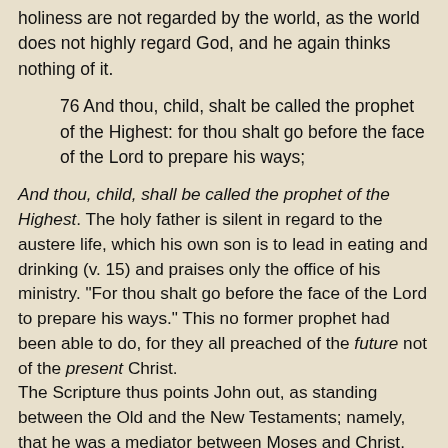holiness are not regarded by the world, as the world does not highly regard God, and he again thinks nothing of it.
76 And thou, child, shalt be called the prophet of the Highest: for thou shalt go before the face of the Lord to prepare his ways;
And thou, child, shall be called the prophet of the Highest. The holy father is silent in regard to the austere life, which his own son is to lead in eating and drinking (v. 15) and praises only the office of his ministry. "For thou shalt go before the face of the Lord to prepare his ways." This no former prophet had been able to do, for they all preached of the future not of the present Christ.
The Scripture thus points John out, as standing between the Old and the New Testaments; namely, that he was a mediator between Moses and Christ. This is a great thing and to be pre ferred above all works; as Christ also did his greatest works by his teach ings, for his miracles are nothing as compared with his doctrine. But that John is a mediator between the Old and the New Testaments is attested by Christ himself in Matt. 11:12-13. The "preparing" is nothing else, but to lead the people up to the Lord. This Lord no one